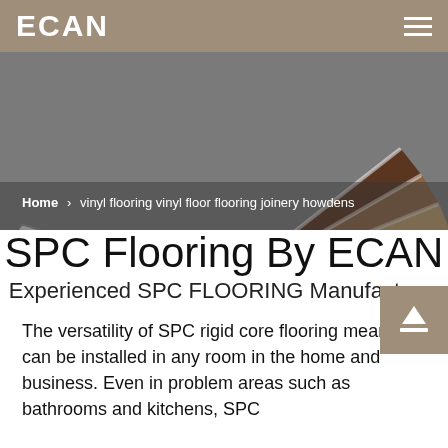ECAN
[Figure (photo): Fan arrangement of vinyl flooring planks in various wood tones from dark brown to light grey/white, shown from above on a grey surface.]
Home > vinyl flooring vinyl floor flooring joinery howdens
SPC Flooring By ECAN
Experienced SPC FLOORING Manufacturer
The versatility of SPC rigid core flooring means it can be installed in any room in the home and business. Even in problem areas such as bathrooms and kitchens, SPC